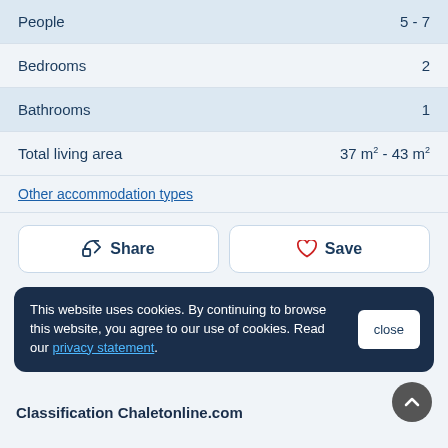| Property | Value |
| --- | --- |
| People | 5 - 7 |
| Bedrooms | 2 |
| Bathrooms | 1 |
| Total living area | 37 m² - 43 m² |
Other accommodation types
Share
Save
This website uses cookies. By continuing to browse this website, you agree to our use of cookies. Read our privacy statement.
close
Classification Chaletonline.com